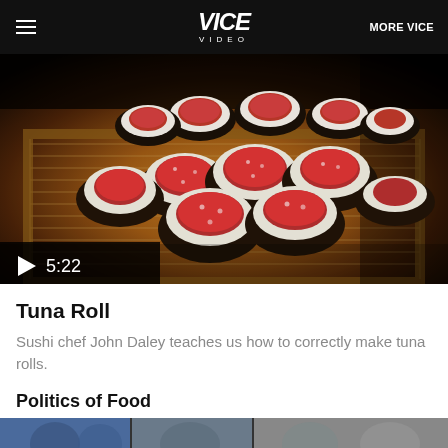VICE VIDEO | MORE VICE
[Figure (photo): Close-up photo of tuna sushi rolls arranged on a bamboo mat on a wooden surface. Multiple maki rolls showing red tuna filling with rice and nori seaweed wrapping. A play button overlay shows duration 5:22.]
Tuna Roll
Sushi chef John Daley teaches us how to correctly make tuna rolls.
Politics of Food
[Figure (photo): Partial thumbnail image of people, appears to be a video thumbnail for 'Politics of Food' segment.]